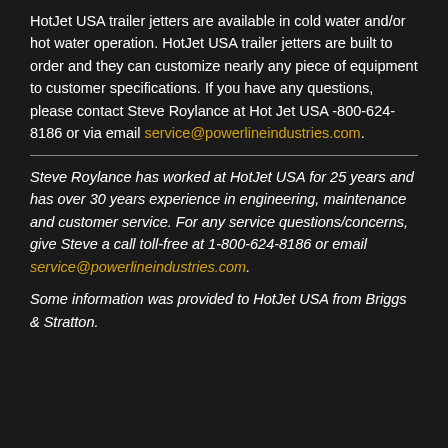HotJet USA trailer jetters are available in cold water and/or hot water operation. HotJet USA trailer jetters are built to order and they can customize nearly any piece of equipment to customer specifications. If you have any questions, please contact Steve Roylance at Hot Jet USA -800-624-8186 or via email service@powerlineindustries.com.
Steve Roylance has worked at HotJet USA for 25 years and has over 30 years experience in engineering, maintenance and customer service. For any service questions/concerns, give Steve a call toll-free at 1-800-624-8186 or email service@powerlineindustries.com.
Some information was provided to HotJet USA from Briggs & Stratton.